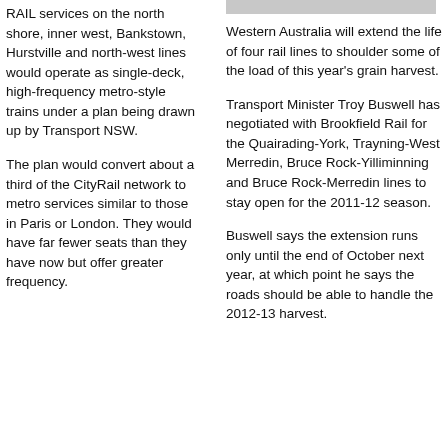RAIL services on the north shore, inner west, Bankstown, Hurstville and north-west lines would operate as single-deck, high-frequency metro-style trains under a plan being drawn up by Transport NSW.
The plan would convert about a third of the CityRail network to metro services similar to those in Paris or London. They would have far fewer seats than they have now but offer greater frequency.
Western Australia will extend the life of four rail lines to shoulder some of the load of this year's grain harvest.
Transport Minister Troy Buswell has negotiated with Brookfield Rail for the Quairading-York, Trayning-West Merredin, Bruce Rock-Yilliminning and Bruce Rock-Merredin lines to stay open for the 2011-12 season.
Buswell says the extension runs only until the end of October next year, at which point he says the roads should be able to handle the 2012-13 harvest.